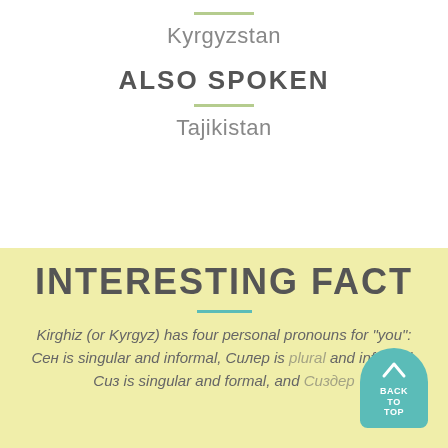Kyrgyzstan
ALSO SPOKEN
Tajikistan
INTERESTING FACT
Kirghiz (or Kyrgyz) has four personal pronouns for "you": Сен is singular and informal, Силер is plural and informal, Сиз is singular and formal, and Сиздер